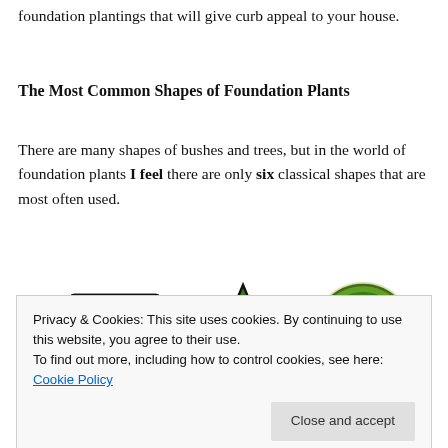foundation plantings that will give curb appeal to your house.
The Most Common Shapes of Foundation Plants
There are many shapes of bushes and trees, but in the world of foundation plants I feel there are only six classical shapes that are most often used.
[Figure (illustration): Three illustrated plant shapes — a rectangular shrub (left), a triangular/conical shrub (center), and a round/oval shrub (right), all depicted with green foliage and black outlines.]
Privacy & Cookies: This site uses cookies. By continuing to use this website, you agree to their use.
To find out more, including how to control cookies, see here: Cookie Policy
4   5   6